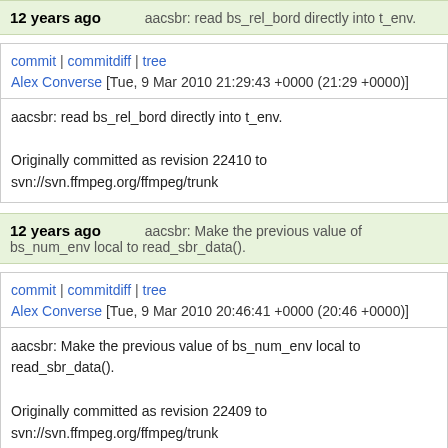12 years ago    aacsbr: read bs_rel_bord directly into t_env.
commit | commitdiff | tree
Alex Converse [Tue, 9 Mar 2010 21:29:43 +0000 (21:29 +0000)]
aacsbr: read bs_rel_bord directly into t_env.

Originally committed as revision 22410 to svn://svn.ffmpeg.org/ffmpeg/trunk
12 years ago    aacsbr: Make the previous value of bs_num_env local to read_sbr_data().
commit | commitdiff | tree
Alex Converse [Tue, 9 Mar 2010 20:46:41 +0000 (20:46 +0000)]
aacsbr: Make the previous value of bs_num_env local to read_sbr_data().

Originally committed as revision 22409 to svn://svn.ffmpeg.org/ffmpeg/trunk
12 years ago    aacsbr: Initialize e_a[1] to -1.